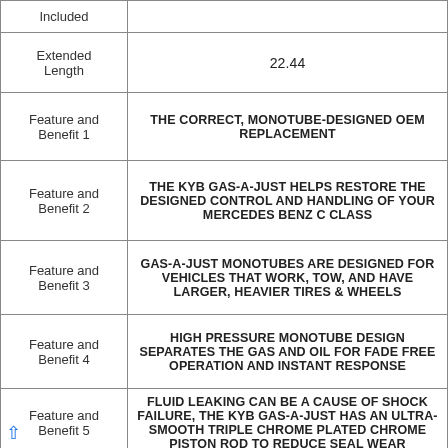| Feature/Attribute | Value/Description |
| --- | --- |
| Included |  |
| Extended Length | 22.44 |
| Feature and Benefit 1 | THE CORRECT, MONOTUBE-DESIGNED OEM REPLACEMENT |
| Feature and Benefit 2 | THE KYB GAS-A-JUST HELPS RESTORE THE DESIGNED CONTROL AND HANDLING OF YOUR MERCEDES BENZ C CLASS |
| Feature and Benefit 3 | GAS-A-JUST MONOTUBES ARE DESIGNED FOR VEHICLES THAT WORK, TOW, AND HAVE LARGER, HEAVIER TIRES & WHEELS |
| Feature and Benefit 4 | HIGH PRESSURE MONOTUBE DESIGN SEPARATES THE GAS AND OIL FOR FADE FREE OPERATION AND INSTANT RESPONSE |
| Feature and Benefit 5 | FLUID LEAKING CAN BE A CAUSE OF SHOCK FAILURE, THE KYB GAS-A-JUST HAS AN ULTRA-SMOOTH TRIPLE CHROME PLATED CHROME PISTON ROD TO REDUCE SEAL WEAR |